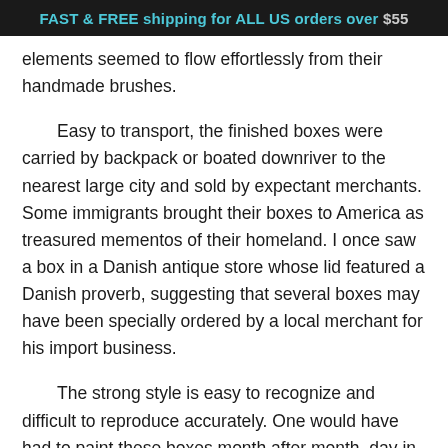FAST & FREE shipping for ALL US orders over $55
elements seemed to flow effortlessly from their handmade brushes.
Easy to transport, the finished boxes were carried by backpack or boated downriver to the nearest large city and sold by expectant merchants. Some immigrants brought their boxes to America as treasured mementos of their homeland. I once saw a box in a Danish antique store whose lid featured a Danish proverb, suggesting that several boxes may have been specially ordered by a local merchant for his import business.
The strong style is easy to recognize and difficult to reproduce accurately. One would have had to paint these boxes month after month, day in, day out, to attain the freedom of expression that a good example